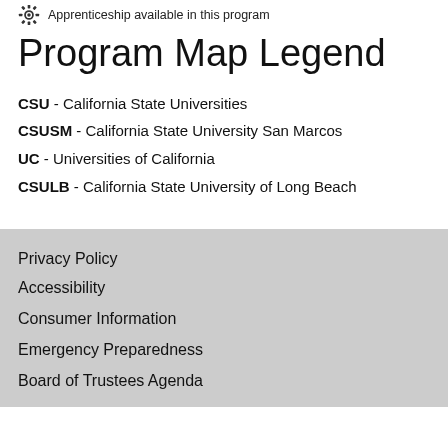Apprenticeship available in this program
Program Map Legend
CSU - California State Universities
CSUSM - California State University San Marcos
UC - Universities of California
CSULB - California State University of Long Beach
Privacy Policy
Accessibility
Consumer Information
Emergency Preparedness
Board of Trustees Agenda